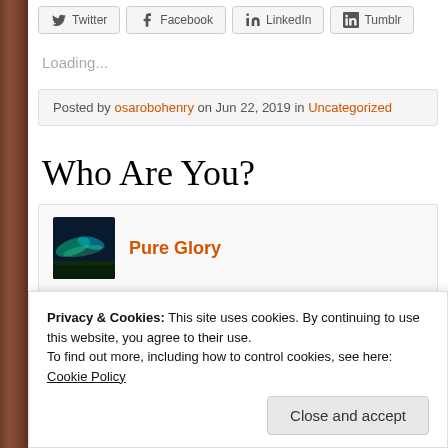Twitter | Facebook | LinkedIn | Tumblr (share buttons)
Loading...
Posted by osarobohenry on Jun 22, 2019 in Uncategorized
Who Are You?
Pure Glory
[Figure (photo): Partial green outdoor photo]
Privacy & Cookies: This site uses cookies. By continuing to use this website, you agree to their use.
To find out more, including how to control cookies, see here: Cookie Policy
Close and accept